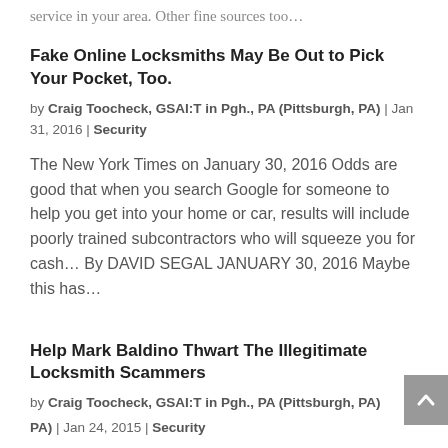service in your area. Other fine sources too…
Fake Online Locksmiths May Be Out to Pick Your Pocket, Too.
by Craig Toocheck, GSAI:T in Pgh., PA (Pittsburgh, PA) | Jan 31, 2016 | Security
The New York Times on January 30, 2016 Odds are good that when you search Google for someone to help you get into your home or car, results will include poorly trained subcontractors who will squeeze you for cash… By DAVID SEGAL JANUARY 30, 2016 Maybe this has…
Help Mark Baldino Thwart The Illegitimate Locksmith Scammers
by Craig Toocheck, GSAI:T in Pgh., PA (Pittsburgh, PA) | Jan 24, 2015 | Security